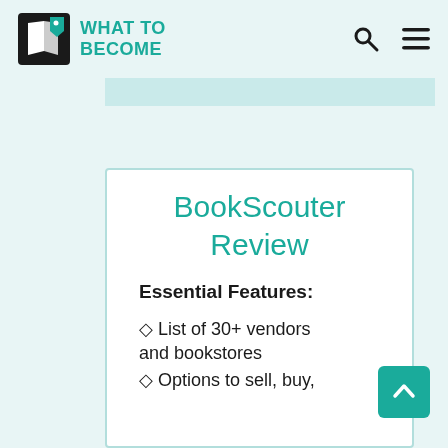WHAT TO BECOME
BookScouter Review
Essential Features:
◇ List of 30+ vendors and bookstores
◇ Options to sell, buy,